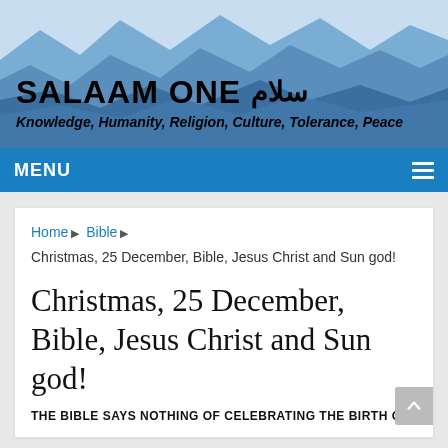[Figure (illustration): Website banner for Salaam One with mountain silhouettes in shades of blue. Contains bold text 'SALAAM ONE' with Arabic script 'سلام' and subtitle 'Knowledge, Humanity, Religion, Culture, Tolerance, Peace']
MENU ≡
Home ▶ Bible ▶ Christmas, 25 December, Bible, Jesus Christ and Sun god!
Christmas, 25 December, Bible, Jesus Christ and Sun god!
THE BIBLE SAYS NOTHING OF CELEBRATING THE BIRTH OF